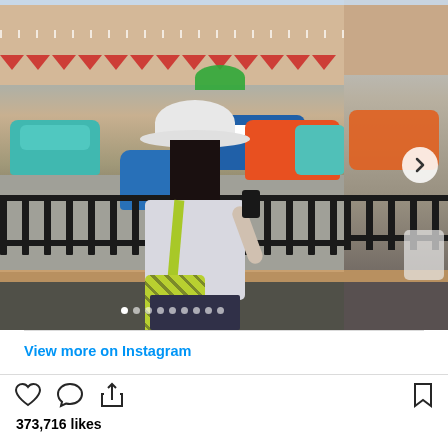[Figure (photo): Instagram post showing a woman wearing a white bucket hat and carrying a yellow-green patterned bag, standing at a black metal fence, photographing colorful vintage-style cars (teal, blue, orange) at what appears to be a theme park attraction. A second partial photo is visible on the right side.]
View more on Instagram
373,716 likes